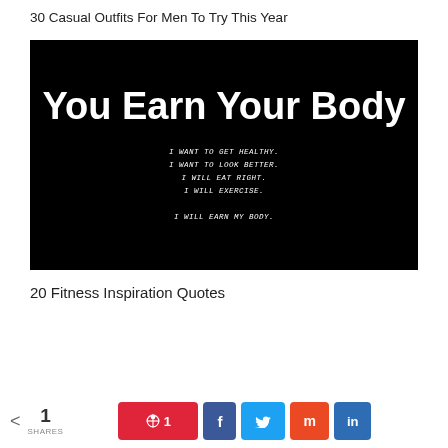30 Casual Outfits For Men To Try This Year
[Figure (photo): Black background motivational fitness image with large white bold text reading 'You Earn Your Body' and smaller text below: 'I WANT TO GET HEALTHY. I WANT TO LOOK BETTER. I WILL EAT RIGHT. I WILL EXERCISE. I WILL EARN MY BODY.']
20 Fitness Inspiration Quotes
< 1 SHARES   [Pinterest 1] [Facebook] [Twitter] [StumbleUpon] [LinkedIn]